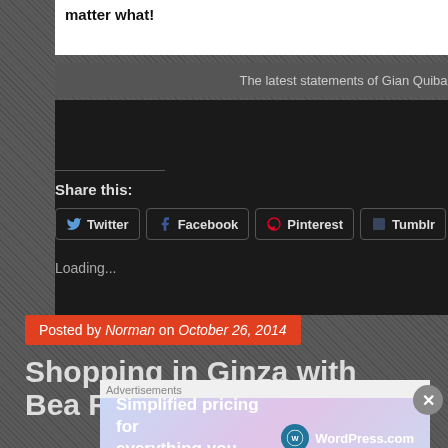[Figure (screenshot): Embedded social media post or quote box with white background showing bold text 'matter what!']
The latest statements of Gian Quiballo
endors... was cr... that th... Gouldi...
Share this:
Twitter  Facebook  Pinterest  Tumblr  Email
Loading...
Posted by Norman on October 26, 2014
Shopping in Ginza with Bea Rose
Advertisements
[Figure (screenshot): WordPress.com advertisement banner: 'Simplified pricing for everything you need.' with WordPress.com logo]